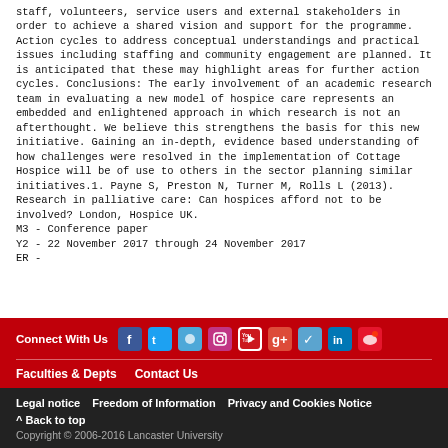staff, volunteers, service users and external stakeholders in order to achieve a shared vision and support for the programme. Action cycles to address conceptual understandings and practical issues including staffing and community engagement are planned. It is anticipated that these may highlight areas for further action cycles. Conclusions: The early involvement of an academic research team in evaluating a new model of hospice care represents an embedded and enlightened approach in which research is not an afterthought. We believe this strengthens the basis for this new initiative. Gaining an in-depth, evidence based understanding of how challenges were resolved in the implementation of Cottage Hospice will be of use to others in the sector planning similar initiatives.1. Payne S, Preston N, Turner M, Rolls L (2013). Research in palliative care: Can hospices afford not to be involved? London, Hospice UK.
M3 - Conference paper
Y2 - 22 November 2017 through 24 November 2017
ER -
Connect With Us [social icons] | Faculties & Depts  Contact Us | Legal notice  Freedom of Information  Privacy and Cookies Notice | ^ Back to top | Copyright © 2006-2016 Lancaster University